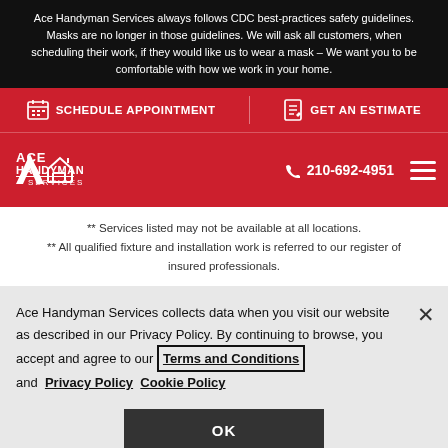Ace Handyman Services always follows CDC best-practices safety guidelines. Masks are no longer in those guidelines. We will ask all customers, when scheduling their work, if they would like us to wear a mask – We want you to be comfortable with how we work in your home.
SCHEDULE APPOINTMENT    GET AN ESTIMATE
[Figure (logo): Ace Handyman Services logo with house icon, white text on red background]
210-692-4951
** Services listed may not be available at all locations.
** All qualified fixture and installation work is referred to our register of insured professionals.
Ace Handyman Services collects data when you visit our website as described in our Privacy Policy. By continuing to browse, you accept and agree to our Terms and Conditions and Privacy Policy Cookie Policy
OK